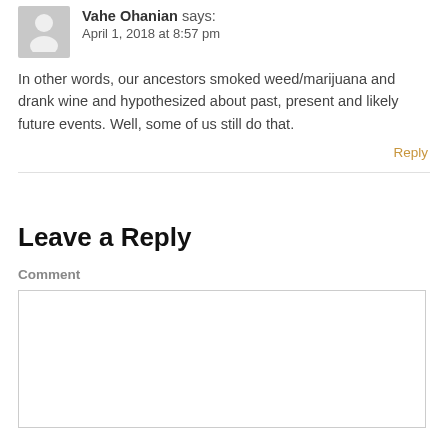Vahe Ohanian says:
April 1, 2018 at 8:57 pm
In other words, our ancestors smoked weed/marijuana and drank wine and hypothesized about past, present and likely future events. Well, some of us still do that.
Reply
Leave a Reply
Comment